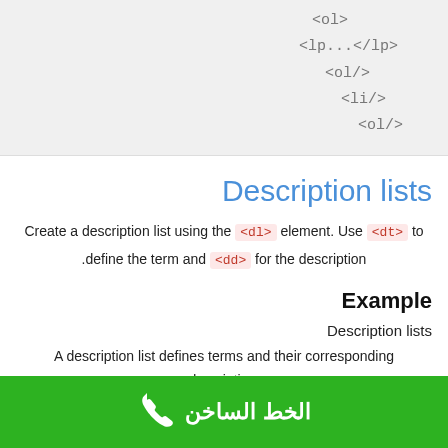[Figure (other): Code block showing HTML list structure: <ol>, <lp>...</lp>, <ol/>, <li/>, <ol/>]
Description lists
Create a description list using the <dl> element. Use <dt> to define the term and <dd> for the description.
Example
Description lists
A description list defines terms and their corresponding descriptions.
الخط الساخن